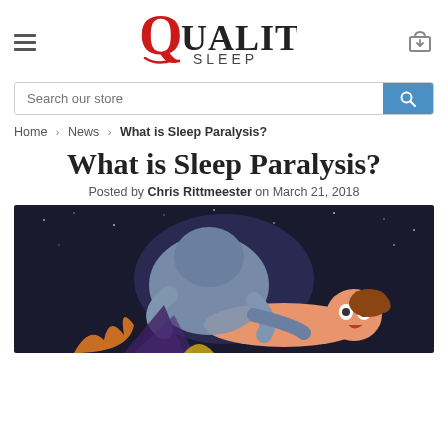Quality Sleep — navigation header with hamburger menu and cart icon
Search our store
Home › News › What is Sleep Paralysis?
What is Sleep Paralysis?
Posted by Chris Rittmeester on March 21, 2018
[Figure (illustration): Stylized illustration of sleep paralysis showing a dark shadowy creature crouched over a frightened person lying in bed, dark starry background.]